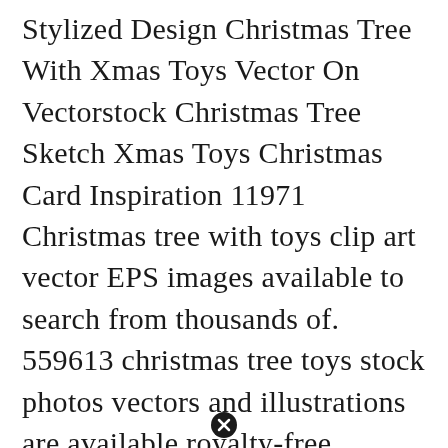Stylized Design Christmas Tree With Xmas Toys Vector On Vectorstock Christmas Tree Sketch Xmas Toys Christmas Card Inspiration 11971 Christmas tree with toys clip art vector EPS images available to search from thousands of. 559613 christmas tree toys stock photos vectors and illustrations are available royalty-free. Download high quality Tree Toys vectors from our collection of 66000000 vectors. Find christmas tree toys vector stock images in HD and millions of other royalty-